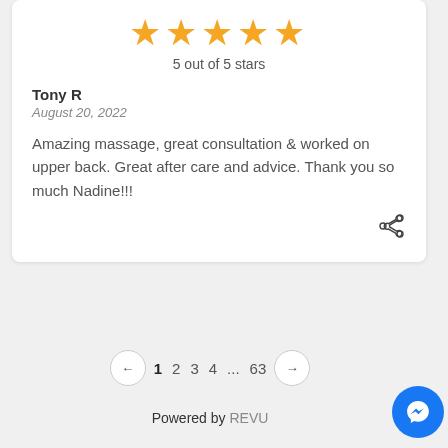[Figure (other): 5 gold stars rating]
5 out of 5 stars
Tony R
August 20, 2022
Amazing massage, great consultation & worked on upper back. Great after care and advice. Thank you so much Nadine!!!
[Figure (other): Share icon]
1 2 3 4 ... 63
Powered by REVU